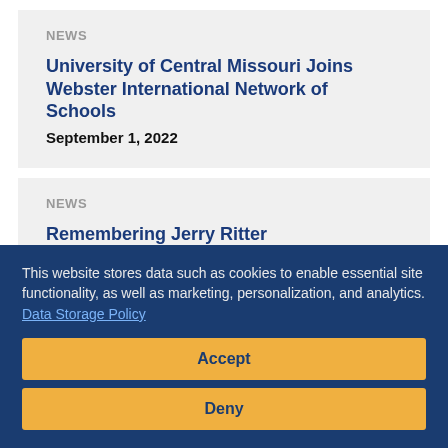NEWS
University of Central Missouri Joins Webster International Network of Schools
September 1, 2022
NEWS
Remembering Jerry Ritter
August 31, 2022
This website stores data such as cookies to enable essential site functionality, as well as marketing, personalization, and analytics. Data Storage Policy
Accept
Deny